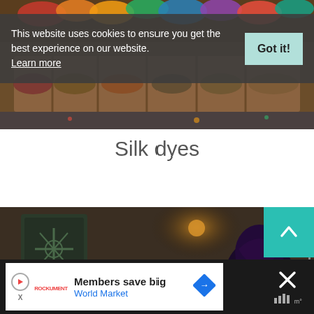[Figure (photo): Top photo of colorful silk dyes in wooden compartment trays, viewed from above with warm tones]
This website uses cookies to ensure you get the best experience on our website. Learn more
Got it!
Silk dyes
[Figure (photo): Bottom photo showing a person in a dark hooded robe in a dimly lit room with a hanging rod]
Members save big
World Market
[Figure (logo): World Market navigation/map pin logo icon in blue diamond shape]